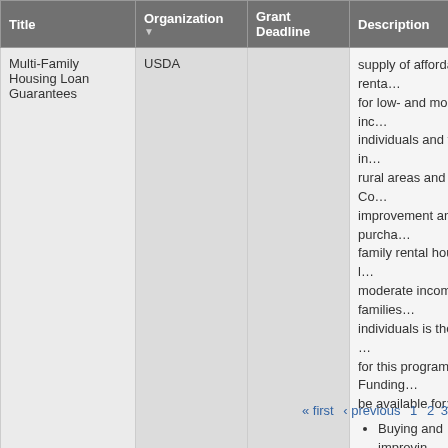| Title | Organization | Grant Deadline | Description |
| --- | --- | --- | --- |
| Multi-Family Housing Loan Guarantees | USDA |  | supply of affordable renta... for low- and moderate-inc... individuals and families in... rural areas and towns. Co... improvement and purcha... family rental housing for l... moderate income families... individuals is the primary ... for this program. Funding... be available for:
• Buying and improvin...
• Providing necessary... infrastructure
• For a complete list s... of Federal Regulatio... Part 3565.205 |
« first  ‹ previous  1  2  3